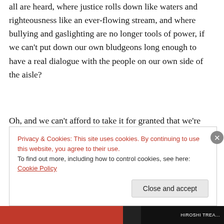all are heard, where justice rolls down like waters and righteousness like an ever-flowing stream, and where bullying and gaslighting are no longer tools of power, if we can't put down our own bludgeons long enough to have a real dialogue with the people on our own side of the aisle?
Oh, and we can't afford to take it for granted that we're "listening," just because sound is entering our ears and we can't manage to ignore it. Listening is an active process and an ongoing one — and let's face it, even in ordinary conversations, how many times are we just "listening" for our chance to jump in with our own two cents' worth? (I am
Privacy & Cookies: This site uses cookies. By continuing to use this website, you agree to their use.
To find out more, including how to control cookies, see here: Cookie Policy